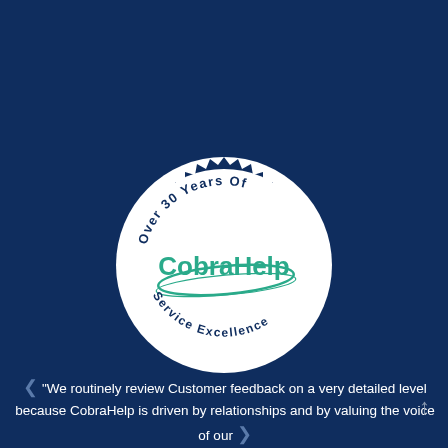[Figure (logo): CobraHelp circular badge/seal logo with dark navy starburst border, white background, text 'Over 30 Years Of' arced at top and 'Service Excellence' arced at bottom in teal/dark colors, with 'CobraHelp' in large teal text in the center and a swoosh graphic.]
“We routinely review Customer feedback on a very detailed level because CobraHelp is driven by relationships and by valuing the voice of our